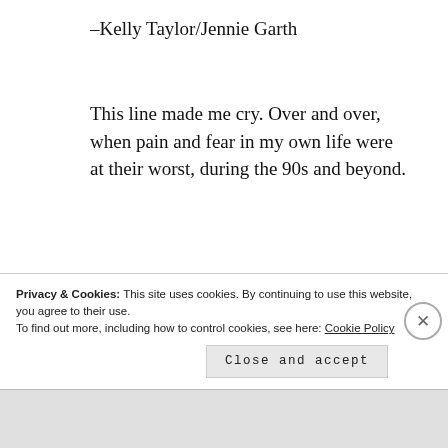–Kelly Taylor/Jennie Garth
This line made me cry. Over and over, when pain and fear in my own life were at their worst, during the 90s and beyond.
I wanted to acknowledge these three events, for the role they all three played in the significant moments in my young life.
Privacy & Cookies: This site uses cookies. By continuing to use this website, you agree to their use.
To find out more, including how to control cookies, see here: Cookie Policy
Close and accept